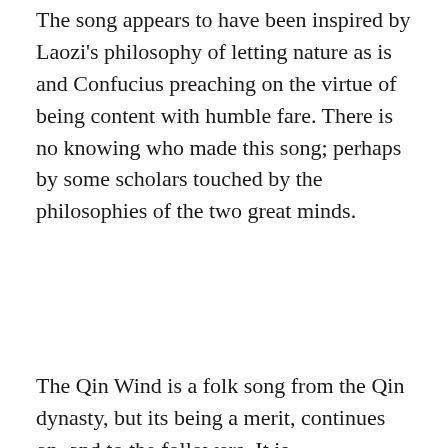The song appears to have been inspired by Laozi's philosophy of letting nature as is and Confucius preaching on the virtue of being content with humble fare. There is no knowing who made this song; perhaps by some scholars touched by the philosophies of the two great minds.
The Qin Wind is a folk song from the Qin dynasty, but its being a merit, continues on, and to the followers. It is